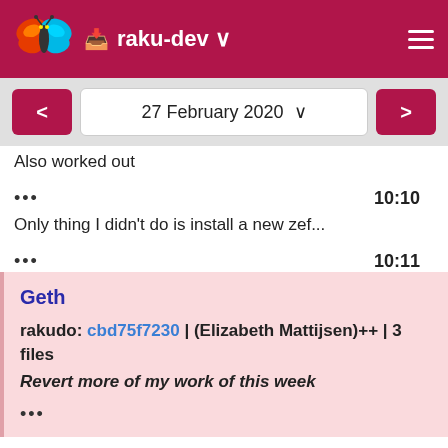raku-dev
27 February 2020
Also worked out
••• 10:10
Only thing I didn't do is install a new zef...
••• 10:11
Geth
rakudo: cbd75f7230 | (Elizabeth Mattijsen)++ | 3 files Revert more of my work of this week
•••
lizmat
it's now stable for me after this commit